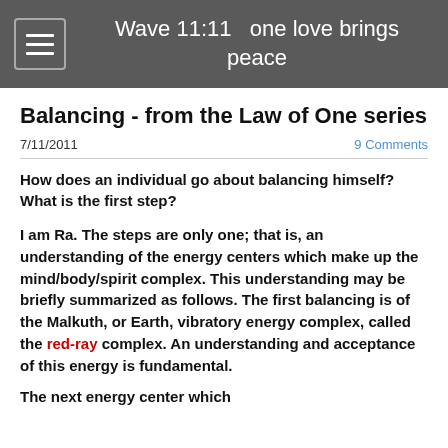Wave 11:11   one love brings peace
Balancing - from the Law of One series
7/11/2011
9 Comments
How does an individual go about balancing himself?  What is the first step?
I am Ra.  The steps are only one; that is, an understanding of the energy centers which make up the mind/body/spirit complex.  This understanding may be briefly summarized as follows. The first balancing is of the Malkuth, or Earth, vibratory energy complex, called the red-ray complex. An understanding and acceptance of this energy is fundamental.
The next energy center which...